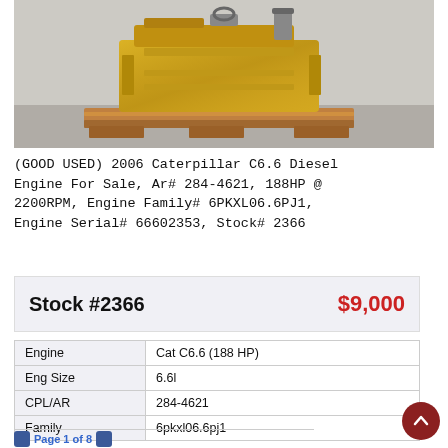[Figure (photo): Yellow Caterpillar C6.6 diesel engine mounted on a wooden pallet, photographed in a warehouse setting]
(GOOD USED) 2006 Caterpillar C6.6 Diesel Engine For Sale, Ar# 284-4621, 188HP @ 2200RPM, Engine Family# 6PKXL06.6PJ1, Engine Serial# 66602353, Stock# 2366
| Stock #2366 | $9,000 |
|  |  |
| --- | --- |
| Engine | Cat C6.6 (188 HP) |
| Eng Size | 6.6l |
| CPL/AR | 284-4621 |
| Family | 6pkxl06.6pj1 |
Page 1 of 8